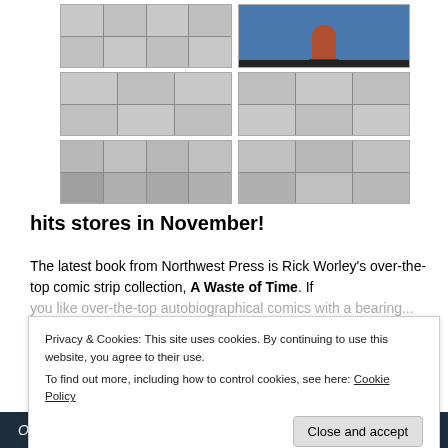[Figure (illustration): Grid of comic strip thumbnails in black and white, with one color image panel in the top right showing a cartoon character against a blue background.]
hits stores in November!
The latest book from Northwest Press is Rick Worley's over-the-top comic strip collection, A Waste of Time. If you like...
Privacy & Cookies: This site uses cookies. By continuing to use this website, you agree to their use.
To find out more, including how to control cookies, see here: Cookie Policy
Close and accept
Opinions.